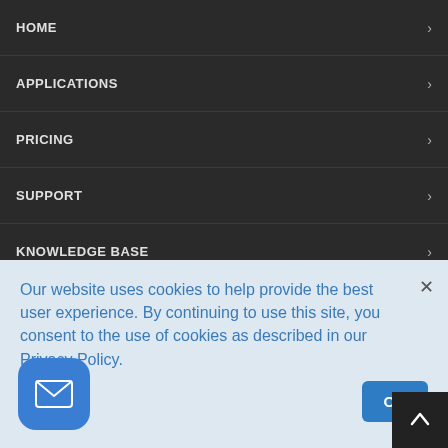HOME
APPLICATIONS
PRICING
SUPPORT
KNOWLEDGE BASE
INFIPLEX BLOG
CONTACT US
DEVELOPERS
PARTNER PROGRAM
Our website uses cookies to help provide the best user experience. By continuing to use this site, you consent to the use of cookies as described in our Privacy Policy.